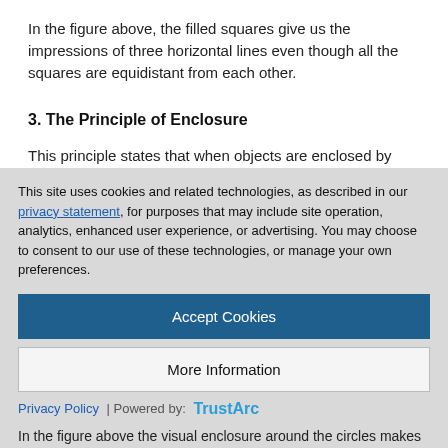In the figure above, the filled squares give us the impressions of three horizontal lines even though all the squares are equidistant from each other.
3. The Principle of Enclosure
This principle states that when objects are enclosed by anything that forms a boundary around them like a line or a background color the objects will be seen as belonging to one group.
This site uses cookies and related technologies, as described in our privacy statement, for purposes that may include site operation, analytics, enhanced user experience, or advertising. You may choose to consent to our use of these technologies, or manage your own preferences.
Accept Cookies
More Information
Privacy Policy | Powered by: TrustArc
In the figure above the visual enclosure around the circles makes